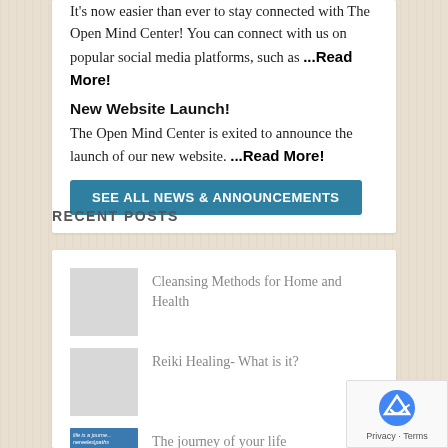It's now easier than ever to stay connected with The Open Mind Center! You can connect with us on popular social media platforms, such as ...Read More!
New Website Launch!
The Open Mind Center is exited to announce the launch of our new website. ...Read More!
SEE ALL NEWS & ANNOUNCEMENTS
RECENT POSTS
Cleansing Methods for Home and Health
Reiki Healing- What is it?
The journey of your life